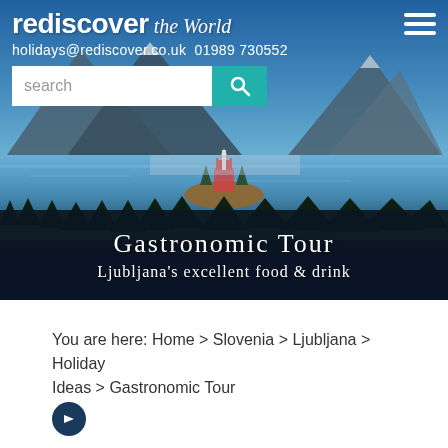rediscover the World
holidays@rediscover.co.uk  01989 730552
[Figure (screenshot): Hero banner showing Lake Bled, Slovenia with island church and mountains in background]
Gastronomic Tour
Ljubljana's excellent food & drink
You are here: Home > Slovenia > Ljubljana > Holiday Ideas > Gastronomic Tour